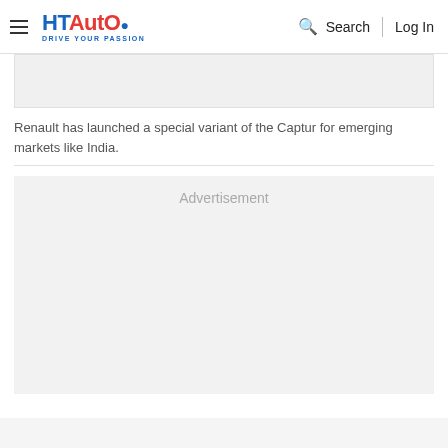HT Auto - Drive Your Passion | Search | Log In
[Figure (photo): Image placeholder box for a Renault Captur photo]
Renault has launched a special variant of the Captur for emerging markets like India.
[Figure (other): Advertisement placeholder box]